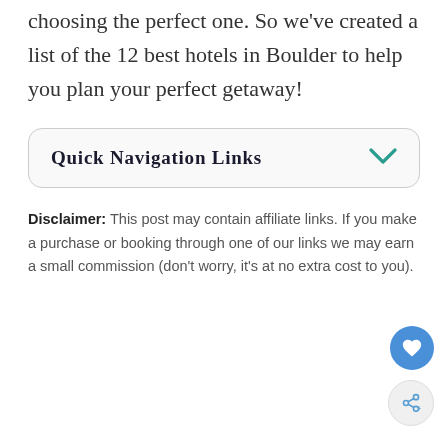many, in fact, that you might have a hard time choosing the perfect one. So we've created a list of the 12 best hotels in Boulder to help you plan your perfect getaway!
Quick Navigation Links
Disclaimer: This post may contain affiliate links. If you make a purchase or booking through one of our links we may earn a small commission (don't worry, it's at no extra cost to you).